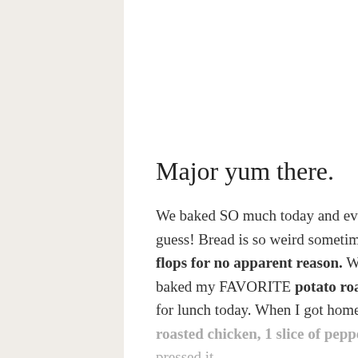Major yum there.
We baked SO much today and everything came out wonderfully. Just one of those days I guess! Bread is so weird sometimes….sometimes it works perfectly and other times it flops for no apparent reason. We like to blame the weather in situations like that! I baked my FAVORITE potato roasted garlic rosemary bread and bought a roll to have for lunch today. When I got home I split the roll and layered inside three slices of deli roasted chicken, 1 slice of pepperjack and a big ol' squirt of spicy mustard. Then I pressed it